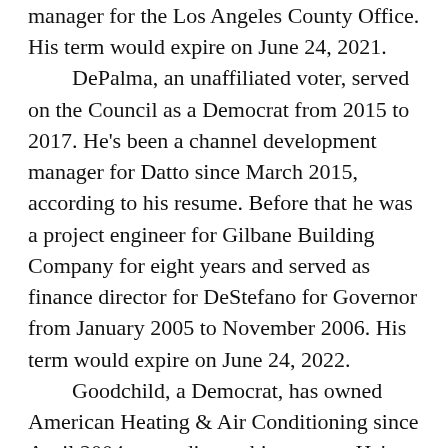manager for the Los Angeles County Office. His term would expire on June 24, 2021.
DePalma, an unaffiliated voter, served on the Council as a Democrat from 2015 to 2017. He's been a channel development manager for Datto since March 2015, according to his resume. Before that he was a project engineer for Gilbane Building Company for eight years and served as finance director for DeStefano for Governor from January 2005 to November 2006. His term would expire on June 24, 2022.
Goodchild, a Democrat, has owned American Heating & Air Conditioning since April 2004, according to his resume. He's been a contractor for Gault since October 2012. His term would expire on June 24, 2022.
Darius Williams, a Democrat, is a freshman at the University of Connecticut, studying political science